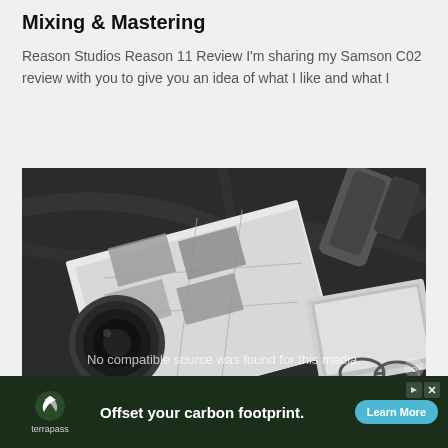Mixing & Mastering
Reason Studios Reason 11 Review I'm sharing my Samson C02 review with you to give you an idea of what I like and what I
[Figure (photo): Black and white styled photo showing a camera lens, an open magazine/book with grid photos, a laptop (Chromebook), and glasses on a dark marble surface. Overlay text reads: No compatible source was found for this media.]
[Figure (infographic): Advertisement banner for Terrapass. Dark green background with Terrapass logo (white leaf spiral icon), text 'Offset your carbon footprint.' in white bold, and a teal 'Learn More' button. Small play and close icons in top right.]